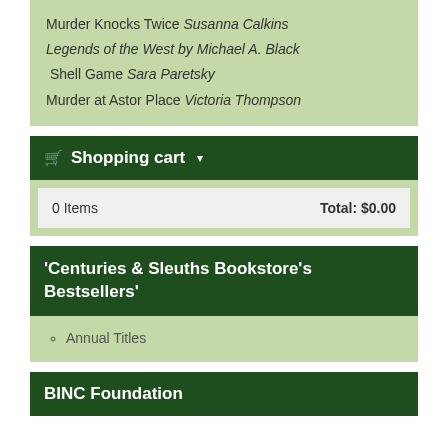Murder Knocks Twice Susanna Calkins
Legends of the West by Michael A. Black
Shell Game Sara Paretsky
Murder at Astor Place Victoria Thompson
🛒 Shopping cart ▾
| Items | Total |
| --- | --- |
| 0 Items | Total: $0.00 |
'Centuries & Sleuths Bookstore's Bestsellers'
Annual Titles
BINC Foundation